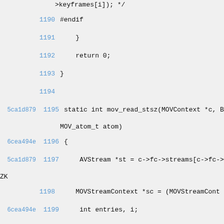>keyframes[i]); */
1190  #endif
1191      }
1192      return 0;
1193  }
1194
5ca1d879  1195  static int mov_read_stsz(MOVContext *c, B MOV_atom_t atom)
6cea494e  1196  {
5ca1d879  1197      AVStream *st = c->fc->streams[c->fc-> ZK
1198      MOVStreamContext *sc = (MOVStreamCont
6cea494e  1199      int entries, i;
b6a17df4  1200
5ca1d879  1201      print_atom("stsz", atom);
5cd62665  1202
6cea494e  1203      get_byte(pb); /* version */
ZK